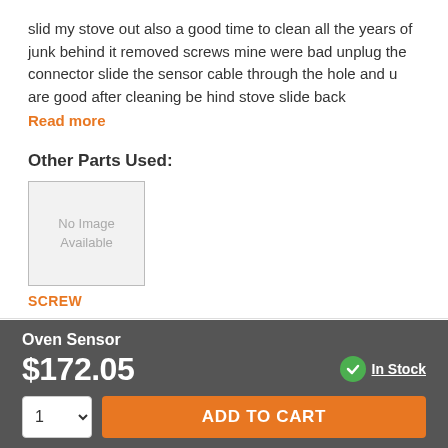slid my stove out also a good time to clean all the years of junk behind it removed screws mine were bad unplug the connector slide the sensor cable through the hole and u are good after cleaning be hind stove slide back
Read more
Other Parts Used:
[Figure (other): No image available placeholder box for a part]
SCREW
WILLIAM from ORANGE PARK, FL
Oven Sensor
$172.05
In Stock
1
ADD TO CART